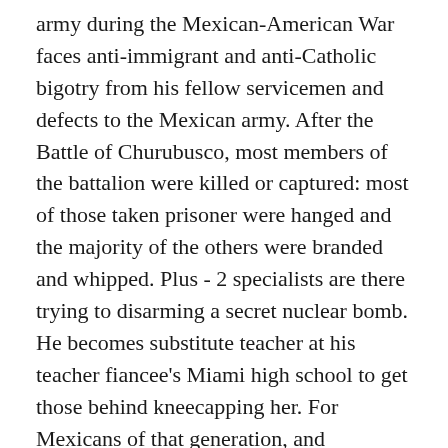army during the Mexican-American War faces anti-immigrant and anti-Catholic bigotry from his fellow servicemen and defects to the Mexican army. After the Battle of Churubusco, most members of the battalion were killed or captured: most of those taken prisoner were hanged and the majority of the others were branded and whipped. Plus - 2 specialists are there trying to disarming a secret nuclear bomb. He becomes substitute teacher at his teacher fiancee's Miami high school to get those behind kneecapping her. For Mexicans of that generation, and generations to come, the San Patricioswere heroes who came to the aid of fellow Catholics in need. Also, he was a young fellow, about thirty, which made it hard to accept Tom in the role. Nat Wolff can shoot lightning in this exclusive clip from 'Mortal' Read More; What to Watch on FandangoNOW: 'Come Away' with Angelina Jolie, Charlie Hunnam in